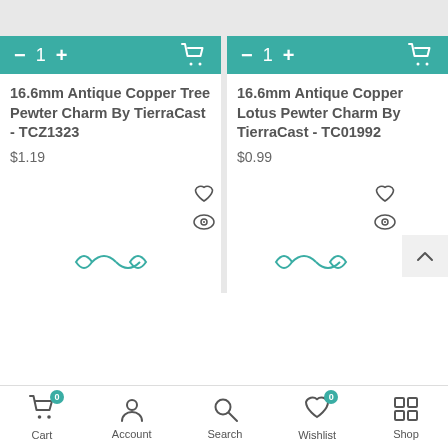[Figure (screenshot): Two-column e-commerce product listing page showing pewter charms with add-to-cart controls, product titles, prices, wishlist/view icons, and a bottom navigation bar.]
16.6mm Antique Copper Tree Pewter Charm By TierraCast - TCZ1323
$1.19
16.6mm Antique Copper Lotus Pewter Charm By TierraCast - TC01992
$0.99
Cart
Account
Search
Wishlist
Shop